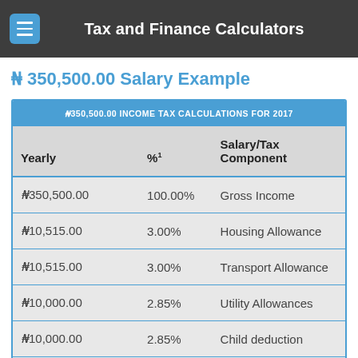Tax and Finance Calculators
₦ 350,500.00 Salary Example
| Yearly | %¹ | Salary/Tax Component |
| --- | --- | --- |
| ₦350,500.00 | 100.00% | Gross Income |
| ₦10,515.00 | 3.00% | Housing Allowance |
| ₦10,515.00 | 3.00% | Transport Allowance |
| ₦10,000.00 | 2.85% | Utility Allowances |
| ₦10,000.00 | 2.85% | Child deduction |
| ₦4,000.00 | 1.14% | Dependant deduction |